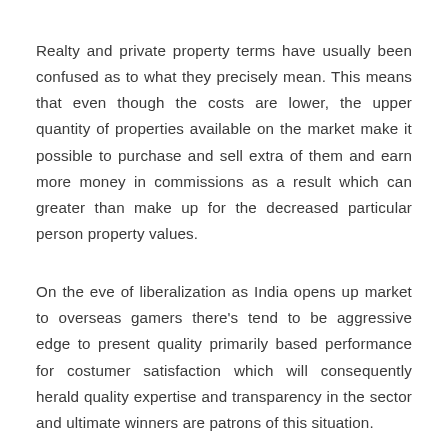Realty and private property terms have usually been confused as to what they precisely mean. This means that even though the costs are lower, the upper quantity of properties available on the market make it possible to purchase and sell extra of them and earn more money in commissions as a result which can greater than make up for the decreased particular person property values.
On the eve of liberalization as India opens up market to overseas gamers there's tend to be aggressive edge to present quality primarily based performance for costumer satisfaction which will consequently herald quality expertise and transparency in the sector and ultimate winners are patrons of this situation.